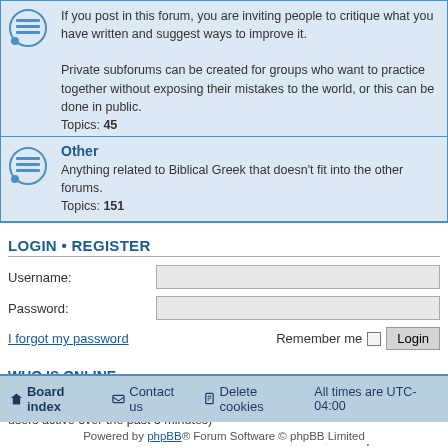If you post in this forum, you are inviting people to critique what you have written and suggest ways to improve it. Private subforums can be created for groups who want to practice together without exposing their mistakes to the world, or this can be done in public. Topics: 45
Other
Anything related to Biblical Greek that doesn't fit into the other forums. Topics: 151
LOGIN • REGISTER
Username:
Password:
I forgot my password
Remember me  Login
WHO IS ONLINE
In total there is 1 user online :: 0 registered, 0 hidden and 1 guest (based on users active over the past 5 minutes)
Most users ever online was 165 on November 26th, 2014, 10:26 pm
STATISTICS
Total posts 35609 • Total topics 4594 • Total members 2693 • Our newest member Mulepadre
Board index   Contact us   Delete cookies   All times are UTC-04:00
Powered by phpBB® Forum Software © phpBB Limited